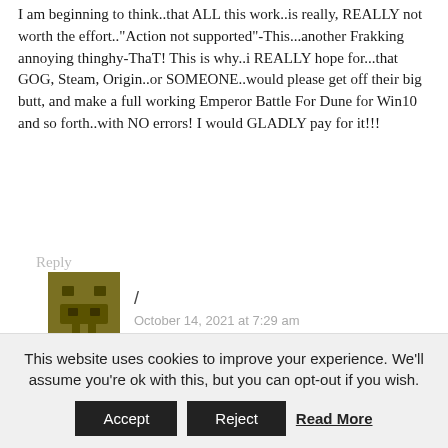I am beginning to think..that ALL this work..is really, REALLY not worth the effort.."Action not supported"-This...another Frakking annoying thinghy-ThaT! This is why..i REALLY hope for...that GOG, Steam, Origin..or SOMEONE..would please get off their big butt, and make a full working Emperor Battle For Dune for Win10 and so forth..with NO errors! I would GLADLY pay for it!!!
Reply
[Figure (illustration): Pixel art style avatar icon, dark olive/brown colored, showing a robot or character face]
/ October 14, 2021 at 7:29 am
They can't the herbert estate hates the games and wishes they were never made. When EA's rights to the Dune expired that
This website uses cookies to improve your experience. We'll assume you're ok with this, but you can opt-out if you wish.
Accept
Reject
Read More